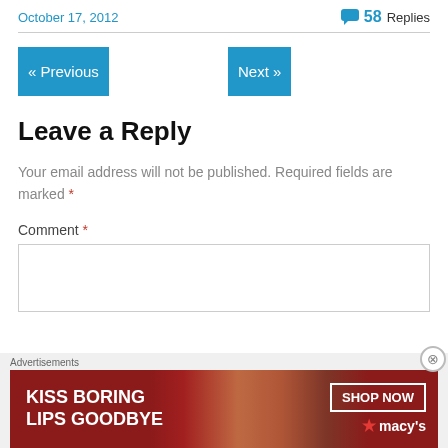October 17, 2012
58 Replies
« Previous
Next »
Leave a Reply
Your email address will not be published. Required fields are marked *
Comment *
[Figure (infographic): Advertisement banner: KISS BORING LIPS GOODBYE with SHOP NOW and Macy's logo]